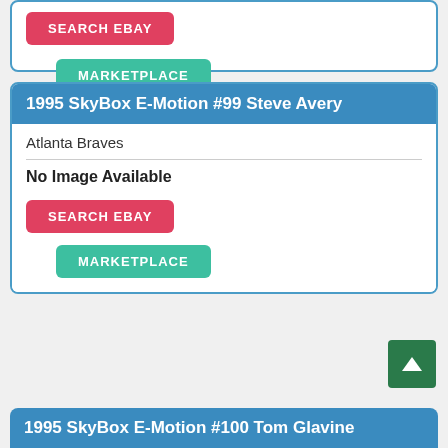[Figure (screenshot): Partial card bottom with SEARCH EBAY and MARKETPLACE buttons]
1995 SkyBox E-Motion #99 Steve Avery
Atlanta Braves
No Image Available
SEARCH EBAY
MARKETPLACE
1995 SkyBox E-Motion #100 Tom Glavine